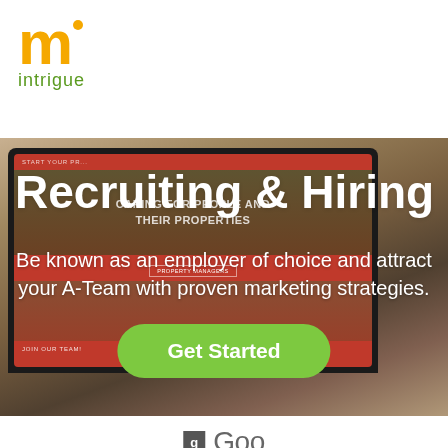[Figure (logo): Intrigue company logo - orange 'm' letter with green dot and 'intrigue' text below]
[Figure (screenshot): Laptop showing a property management company website with red background, outdoor property images, and hiring/recruiting content. Website shows 'START YOUR PR...', 'CARING FOR PEOPLE AND THEIR PROPERTIES', 'PROPERTY MANAGERS', 'JOIN OUR TEAM!' text elements.]
Recruiting & Hiring
Be known as an employer of choice and attract your A-Team with proven marketing strategies.
Get Started
[Figure (logo): Partial Google logo visible at bottom - gray 'g' icon and start of Google wordmark]